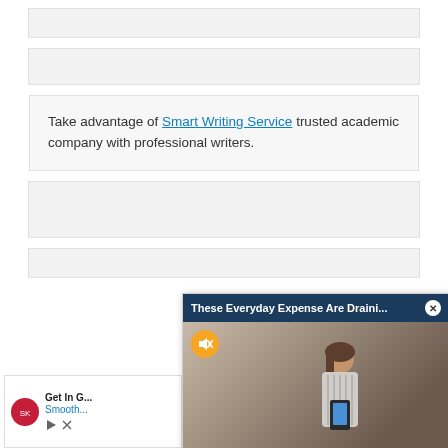[Figure (other): Ad banner placeholder (gray box)]
[Figure (other): Ad banner placeholder (gray box)]
Take advantage of Smart Writing Service trusted academic company with professional writers.
[Figure (other): Ad banner placeholder (gray box)]
[Figure (other): Ad banner placeholder (gray box)]
[Figure (screenshot): Video popup overlay with header 'These Everyday Expense Are Draini...' and close X button, showing a woman looking at a phone with a muted video icon]
[Figure (other): Advertisement with Smoothie King logo showing 'Get In G...' and 'Smooth...' text with play and close icons]